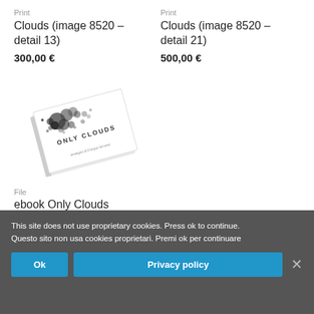Print
Clouds (image 8520 – detail 13)
300,00 €
Print
Clouds (image 8520 – detail 21)
500,00 €
[Figure (photo): Photo of a white book titled 'ONLY CLOUDS' with a cloud image on the cover, slightly tilted]
File
ebook Only Clouds
1,00 €
This site does not use proprietary cookies. Press ok to continue.
Questo sito non usa cookies proprietari. Premi ok per continuare
Ok
Privacy policy
Copyright 2022 Nuvole srl